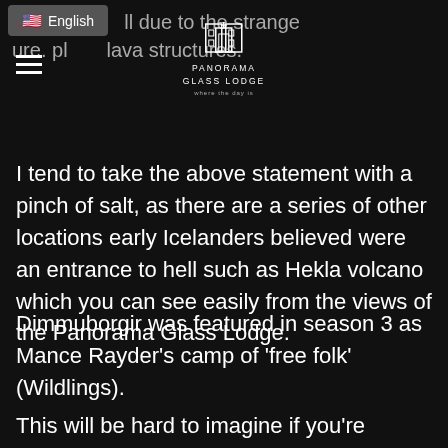entr...ll due to the strange ure. pl...lava structures.
[Figure (logo): Panorama Glass Lodge logo with building icon and tagline 'where the day is']
I tend to take the above statement with a pinch of salt, as there are a series of other locations early Icelanders believed were an entrance to hell such as Hekla volcano which you can see easily from the views of the Panorama Glass Lodge.
Dimmuborgir was featured in season 3 as Mance Rayder's camp of ‘free folk’ (Wildlings).
This will be hard to imagine if you’re planning